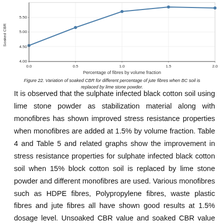[Figure (line-chart): Soaked CBR vs Percentage of fibres by volume fraction]
Figure 22. Variation of soaked CBR for different percentage of jute fibres when BC soil is replaced by lime stone powder.
It is observed that the sulphate infected black cotton soil using lime stone powder as stabilization material along with monofibres has shown improved stress resistance properties when monofibres are added at 1.5% by volume fraction. Table 4 and Table 5 and related graphs show the improvement in stress resistance properties for sulphate infected black cotton soil when 15% block cotton soil is replaced by lime stone powder and different monofibres are used. Various monofibres such as HDPE fibres, Polypropylene fibres, waste plastic fibres and jute fibres all have shown good results at 1.5% dosage level. Unsoaked CBR value and soaked CBR value have shown an increasing trend upto 1.5% addition of fibres. The percentage increase in unsoaked CBR value for various monofibres such as HDPE fibres, polypropylene fibres, waste